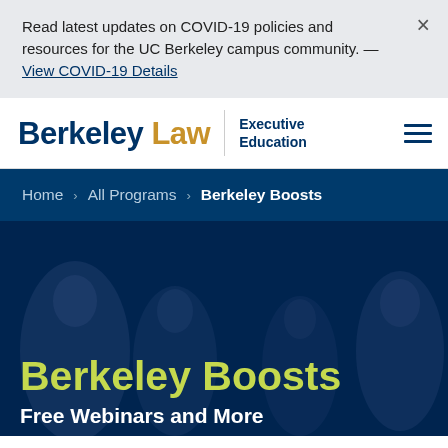Read latest updates on COVID-19 policies and resources for the UC Berkeley campus community. — View COVID-19 Details
[Figure (logo): Berkeley Law Executive Education logo with hamburger menu icon]
Home › All Programs › Berkeley Boosts
Berkeley Boosts
Free Webinars and More